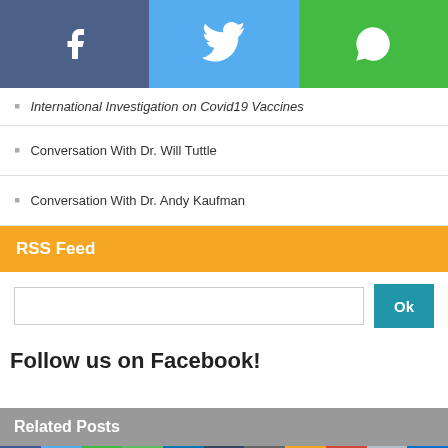[Figure (infographic): Social share bar with Facebook (blue-grey), Twitter (light blue), and WhatsApp (green) icons]
International Investigation on Covid19 Vaccines
Conversation With Dr. Will Tuttle
Conversation With Dr. Andy Kaufman
RSS Feed
Ok
Follow us on Facebook!
Related Posts
[Figure (infographic): Row of social sharing icons: Facebook, Twitter, WhatsApp, SMS, LinkedIn, Tumblr, WordPress, Amazon, Gmail, and more]
The Pope And The Queen Under Investigation
February 17, 2022  (0) Comments